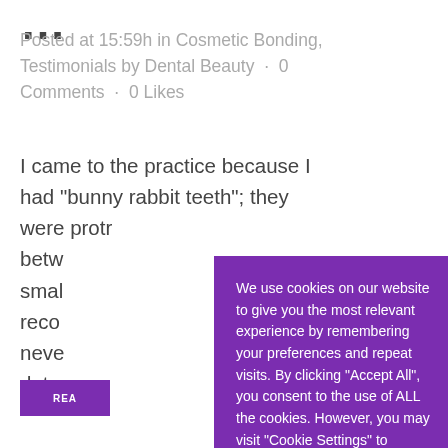Posted at 15:59h in Cosmetic Bonding, Testimonials by Dental Beauty · 0 Comments · 0 Likes
I came to the practice because I had "bunny rabbit teeth"; they were protr... betw... smal... reco... neve... dete...
We use cookies on our website to give you the most relevant experience by remembering your preferences and repeat visits. By clicking "Accept All", you consent to the use of ALL the cookies. However, you may visit "Cookie Settings" to provide a controlled consent.
Cookie Settings
Accept All
REA...